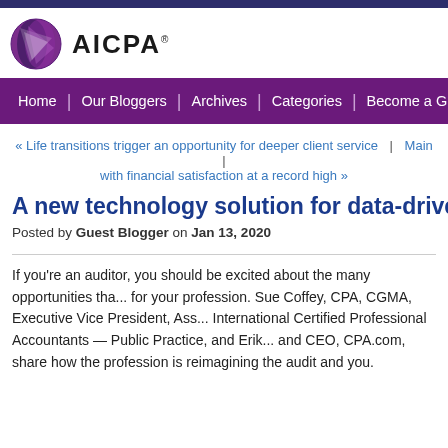[Figure (logo): AICPA logo with globe icon and text]
Home | Our Bloggers | Archives | Categories | Become a Guest Blogg...
« Life transitions trigger an opportunity for deeper client service | Main | with financial satisfaction at a record high »
A new technology solution for data-driven a...
Posted by Guest Blogger on Jan 13, 2020
If you're an auditor, you should be excited about the many opportunities tha... for your profession. Sue Coffey, CPA, CGMA, Executive Vice President, Ass... International Certified Professional Accountants — Public Practice, and Erik... and CEO, CPA.com, share how the profession is reimagining the audit and ... you.